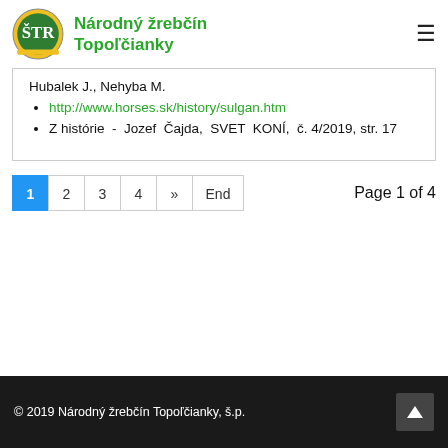Národný žrebčín Topoľčianky
Hubalek J., Nehyba M.
http://www.horses.sk/history/sulgan.htm
Z histórie - Jozef Čajda, SVET KONÍ, č. 4/2019, str. 17
Page 1 of 4
© 2019 Národný žrebčín Topoľčianky, š.p.